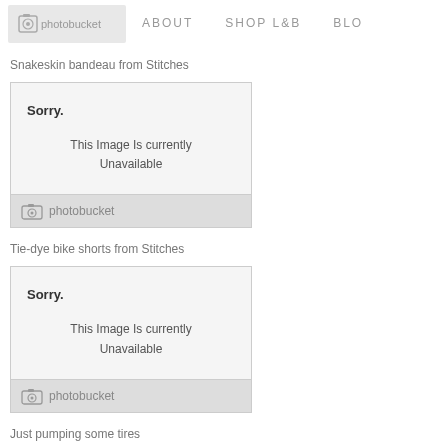photobucket   ABOUT   SHOP L&B   BLOG
Snakeskin bandeau from Stitches
[Figure (other): Photobucket placeholder image box with 'Sorry. This Image Is currently Unavailable' message]
Tie-dye bike shorts from Stitches
[Figure (other): Photobucket placeholder image box with 'Sorry. This Image Is currently Unavailable' message]
Just pumping some tires